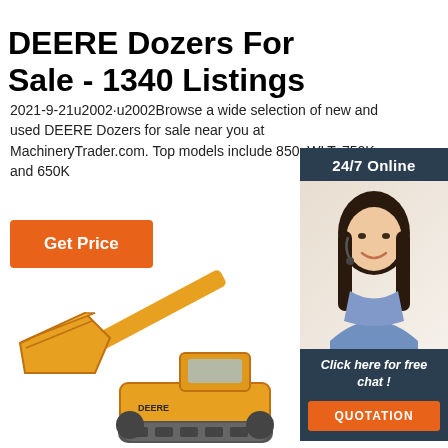DEERE Dozers For Sale - 1340 Listings
2021-9-21u2002·u2002Browse a wide selection of new and used DEERE Dozers for sale near you at MachineryTrader.com. Top models include 850, WLT, 750K, and 650K
[Figure (other): Orange 'Get Price' button]
[Figure (other): Right sidebar advertisement showing '24/7 Online' header, a female customer service agent with headset, 'Click here for free chat!' text, and orange QUOTATION button on dark blue background]
[Figure (photo): Yellow/orange Deere bulldozer/dozer machine with raised blade, partial view from front-left angle]